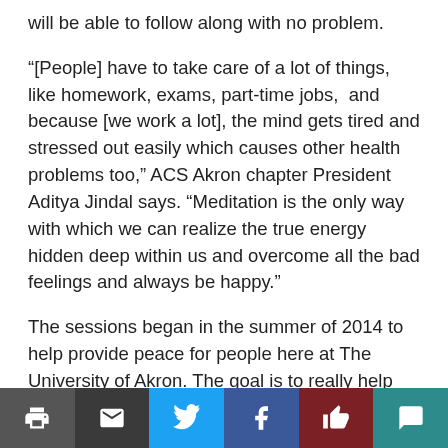will be able to follow along with no problem.
“[People] have to take care of a lot of things, like homework, exams, part-time jobs, and because [we work a lot], the mind gets tired and stressed out easily which causes other health problems too,” ACS Akron chapter President Aditya Jindal says. “Meditation is the only way with which we can realize the true energy hidden deep within us and overcome all the bad feelings and always be happy.”
The sessions began in the summer of 2014 to help provide peace for people here at The University of Akron. The goal is to really help people get rid of their stress.
Most Mondays, the number of participants range
[Figure (other): Social sharing bar with icons: print, email, Twitter, Facebook, like/thumbs-up, comment]